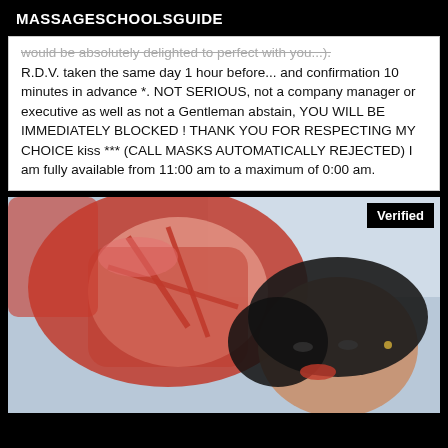MASSAGESCHOOLSGUIDE
would be absolutely delighted to perfect with you...). R.D.V. taken the same day 1 hour before... and confirmation 10 minutes in advance *. NOT SERIOUS, not a company manager or executive as well as not a Gentleman abstain, YOU WILL BE IMMEDIATELY BLOCKED ! THANK YOU FOR RESPECTING MY CHOICE kiss *** (CALL MASKS AUTOMATICALLY REJECTED) I am fully available from 11:00 am to a maximum of 0:00 am.
[Figure (photo): Photo of a woman wearing red lingerie, lying down, smiling, with dark hair. A 'Verified' badge appears in the top right corner of the image.]